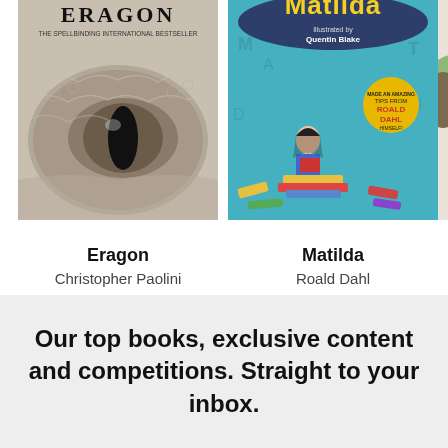[Figure (illustration): Book cover of Eragon by Christopher Paolini showing a close-up of a dragon's eye, black and white/sepia toned with text 'ERAGON' at top and 'The Spellbinding International Bestseller' subtitle]
Eragon
Christopher Paolini
[Figure (illustration): Book cover of Matilda by Roald Dahl, illustrated by Quentin Blake, showing a girl sitting on books with colorful books around her on a teal background with 'Matilda' in large yellow letters at top]
Matilda
Roald Dahl
[Figure (illustration): Partial book cover of a third book, only partly visible, showing 'W' at top left and what appears to be a nature/owl illustration]
Our top books, exclusive content and competitions. Straight to your inbox.